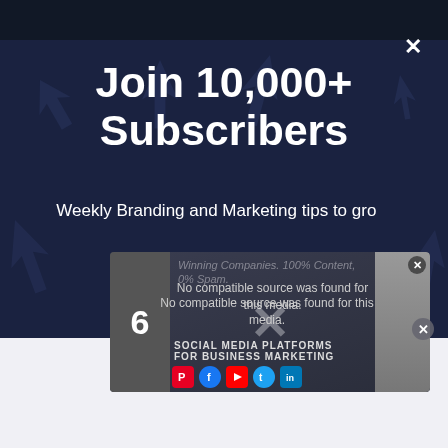[Figure (screenshot): Dark blue background with arrow/cursor icons scattered throughout]
Join 10,000+ Subscribers
Weekly Branding and Marketing tips to grow Winning Companies. 100% Content, 0% Spam.
[Figure (screenshot): Embedded video player overlay showing '6 Social Media Platforms for Business Marketing' with social media icons (Pinterest, Facebook, YouTube, Twitter, LinkedIn, Instagram). Video shows error: 'No compatible source was found for this media.' with a man giving thumbs up.]
No compatible source was found for this media.